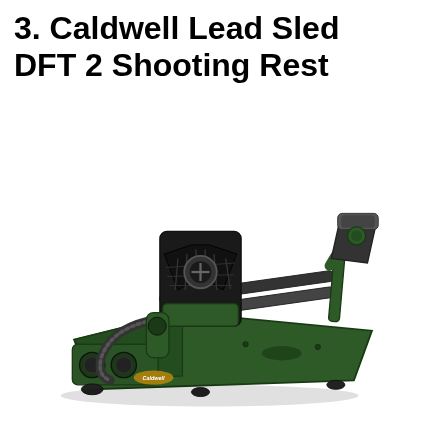3. Caldwell Lead Sled DFT 2 Shooting Rest
[Figure (photo): Caldwell Lead Sled DFT 2 Shooting Rest — a green and black shooting bench rest with front cradle/yoke support, adjustable rear bag rest, dual parallel support rods, and a wide green metal base with rubber feet. The Caldwell logo is visible in gold on the front.]